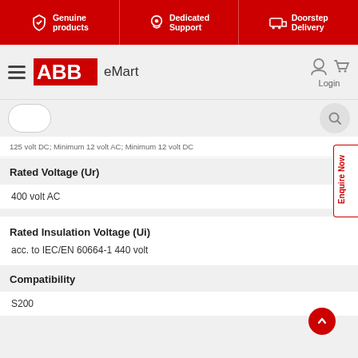[Figure (screenshot): ABB eMart website header with red top banner showing Genuine products, Dedicated Support, Doorstep Delivery, and navigation bar with ABB logo and eMart text]
125 volt DC / Minimum 12 volt AC / Minimum 12 volt DC
Rated Voltage (Ur)
400 volt AC
Rated Insulation Voltage (Ui)
acc. to IEC/EN 60664-1 440 volt
Compatibility
S200